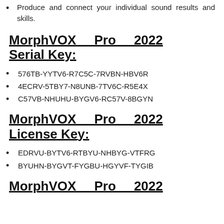Produce and connect your individual sound results and skills.
MorphVOX Pro 2022 Serial Key:
576TB-YYTV6-R7C5C-7RVBN-HBV6R
4ECRV-5TBY7-N8UNB-7TV6C-R5E4X
C57VB-NHUHU-BYGV6-RC57V-8BGYN
MorphVOX Pro 2022 License Key:
EDRVU-BYTV6-RTBYU-NHBYG-VTFRG
BYUHN-BYGVT-FYGBU-HGYVF-TYGIB
MorphVOX Pro 2022